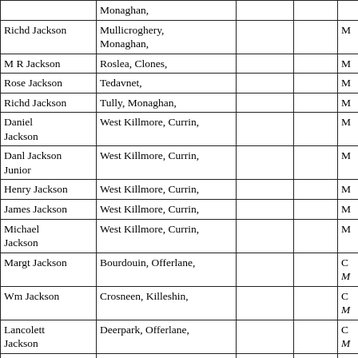| Name | Location |  |  |  |
| --- | --- | --- | --- | --- |
|  | Monaghan, |  |  |  |
| Richd Jackson | Mullicroghery, Monaghan, |  |  | M |
| M R Jackson | Roslea, Clones, |  |  | M |
| Rose Jackson | Tedavnet, |  |  | M |
| Richd Jackson | Tully, Monaghan, |  |  | M |
| Daniel Jackson | West Killmore, Currin, |  |  | M |
| Danl Jackson Junior | West Killmore, Currin, |  |  | M |
| Henry Jackson | West Killmore, Currin, |  |  | M |
| James Jackson | West Killmore, Currin, |  |  | M |
| Michael Jackson | West Killmore, Currin, |  |  | M |
| Margt Jackson | Bourdouin, Offerlane, |  |  | C M |
| Wm Jackson | Crosneen, Killeshin, |  |  | C M |
| Lancolett Jackson | Deerpark, Offerlane, |  |  | C M |
| Nathl Jackson | Glanbannon, Kildare, |  |  | C M |
| Robert | Graigue, Killeshin, |  |  | C |